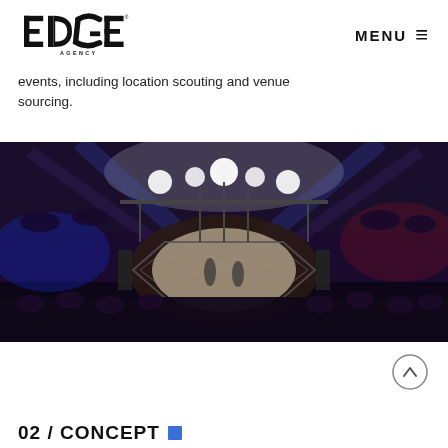EDGE AGENCY | MENU
events, including location scouting and venue sourcing.
[Figure (photo): An MMA octagon/cage fight arena photographed from above and behind the crowd, with dramatic stage lighting including blue and white lights, a packed audience, and fighters visible inside the octagon.]
02 / CONCEPT